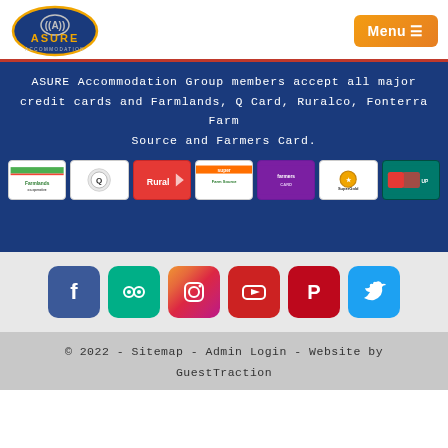ASURE Accommodation | Menu
ASURE Accommodation Group members accept all major credit cards and Farmlands, Q Card, Ruralco, Fonterra Farm Source and Farmers Card.
[Figure (logo): Payment card logos: Farmlands, Q Card, Ruralco, Super Farm Source, Farmers Card, SuperGold, UnionPay]
[Figure (infographic): Social media icons: Facebook, TripAdvisor, Instagram, YouTube, Pinterest, Twitter]
© 2022 - Sitemap - Admin Login - Website by GuestTraction